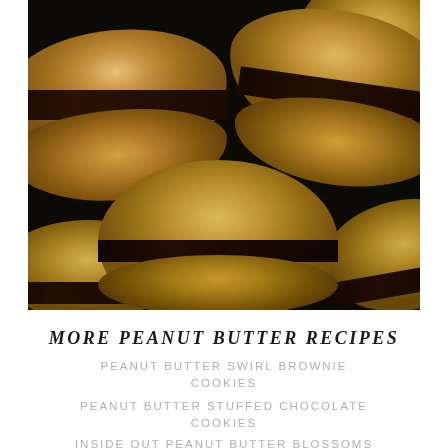[Figure (photo): Close-up photo of peanut butter sandwich cookies with dark chocolate filling, stacked and arranged on a dark surface]
MORE PEANUT BUTTER RECIPES
PEANUT BUTTER SWIRL BROWNIE COOKIES
PEANUT BUTTER STUFFED CHOCOLATE COOKIES
INSIDE OUT PEANUT BUTTER BLOSSOMS